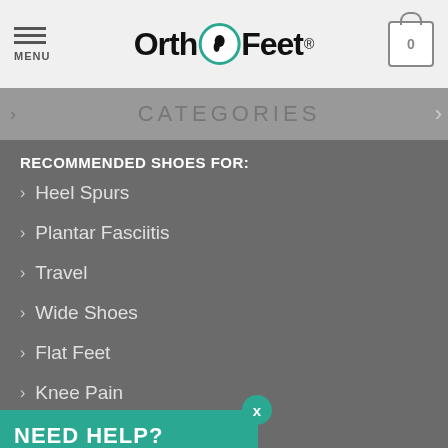OrthoFeet - Header with menu and cart
CATEGORIES
RECOMMENDED SHOES FOR:
Heel Spurs
Plantar Fasciitis
Travel
Wide Shoes
Flat Feet
Knee Pain
Bunions
Morton's Neuroma
NEED HELP?